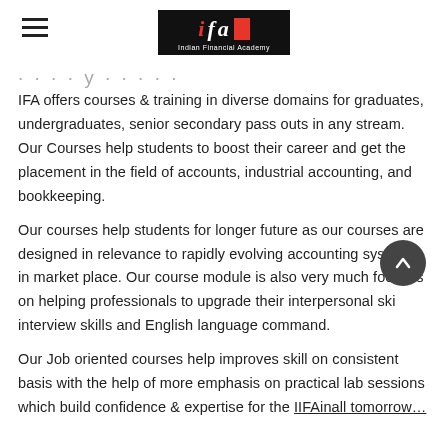IFA - Indian Financial Academy
…y…
IFA offers courses & training in diverse domains for graduates, undergraduates, senior secondary pass outs in any stream. Our Courses help students to boost their career and get the placement in the field of accounts, industrial accounting, and bookkeeping.
Our courses help students for longer future as our courses are designed in relevance to rapidly evolving accounting systems in market place. Our course module is also very much focuses on helping professionals to upgrade their interpersonal skills, interview skills and English language command.
Our Job oriented courses help improves skill on consistent basis with the help of more emphasis on practical lab sessions which build confidence & expertise for the IIFAinall tomorrow…